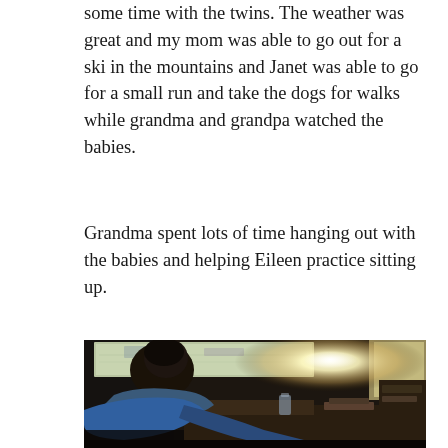some time with the twins. The weather was great and my mom was able to go out for a ski in the mountains and Janet was able to go for a small run and take the dogs for walks while grandma and grandpa watched the babies.
Grandma spent lots of time hanging out with the babies and helping Eileen practice sitting up.
[Figure (photo): Indoor photo of a person (seen from behind/side, dark hair, wearing blue) leaning over something, with a lamp providing bright warm backlight, a map on the wall, and cluttered shelves/table in a dimly lit room.]